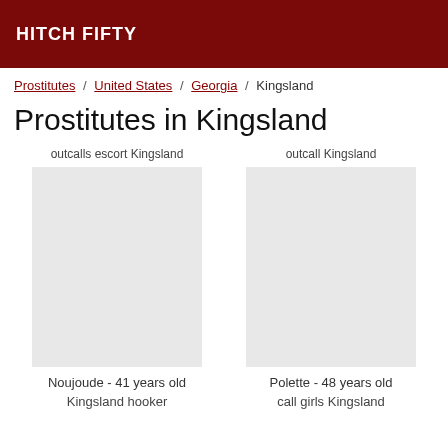HITCH FIFTY
Prostitutes / United States / Georgia / Kingsland
Prostitutes in Kingsland
outcalls escort Kingsland
outcall Kingsland
Noujoude - 41 years old
Kingsland hooker
Polette - 48 years old
call girls Kingsland